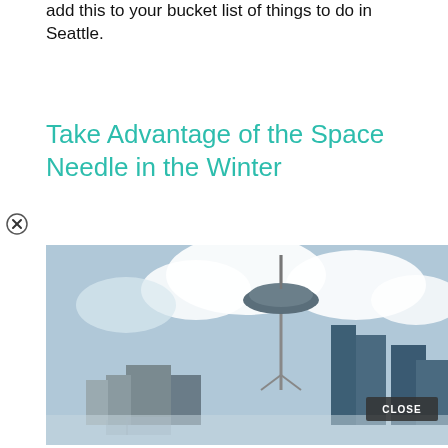add this to your bucket list of things to do in Seattle.
Take Advantage of the Space Needle in the Winter
[Figure (photo): Seattle skyline featuring the Space Needle against a blue sky with clouds, city buildings visible, with a black ad overlay rectangle in the lower-left, a CLOSE button in the lower-right corner, and partial reflection visible at bottom.]